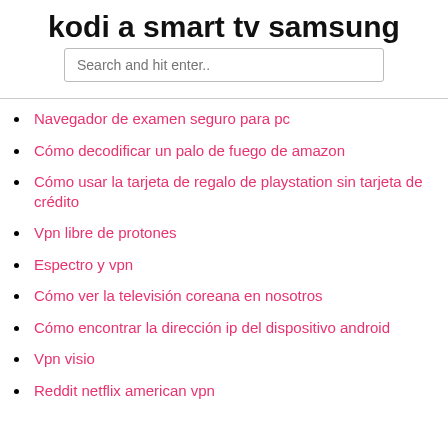kodi a smart tv samsung
Navegador de examen seguro para pc
Cómo decodificar un palo de fuego de amazon
Cómo usar la tarjeta de regalo de playstation sin tarjeta de crédito
Vpn libre de protones
Espectro y vpn
Cómo ver la televisión coreana en nosotros
Cómo encontrar la dirección ip del dispositivo android
Vpn visio
Reddit netflix american vpn